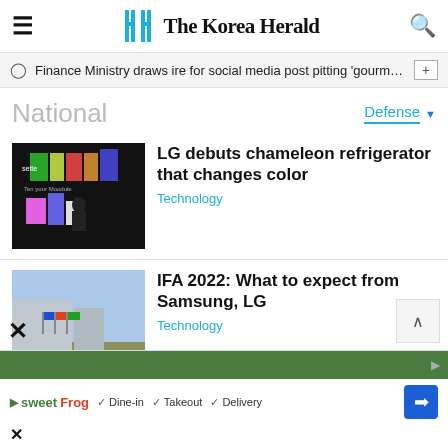The Korea Herald
Finance Ministry draws ire for social media post pitting 'gourmet burg…
National
Defense
LG debuts chameleon refrigerator that changes color
Technology
IFA 2022: What to expect from Samsung, LG
Technology
[Figure (screenshot): Advertisement banner for sweetFrog with Dine-in, Takeout, Delivery options]